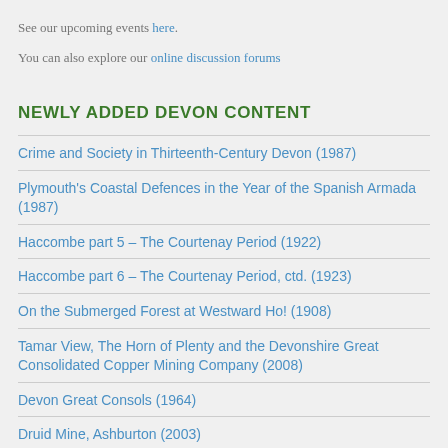See our upcoming events here.
You can also explore our online discussion forums
NEWLY ADDED DEVON CONTENT
Crime and Society in Thirteenth-Century Devon (1987)
Plymouth's Coastal Defences in the Year of the Spanish Armada (1987)
Haccombe part 5 – The Courtenay Period (1922)
Haccombe part 6 – The Courtenay Period, ctd. (1923)
On the Submerged Forest at Westward Ho! (1908)
Tamar View, The Horn of Plenty and the Devonshire Great Consolidated Copper Mining Company (2008)
Devon Great Consols (1964)
Druid Mine, Ashburton (2003)